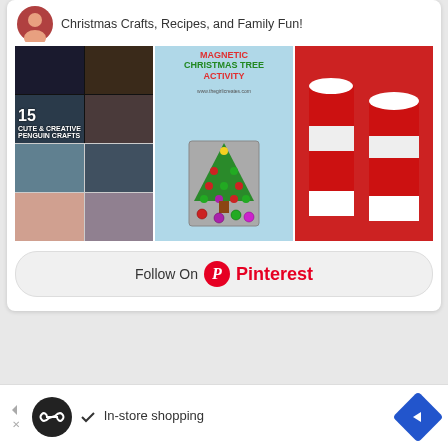Christmas Crafts, Recipes, and Family Fun!
[Figure (screenshot): Pinterest board widget showing three image tiles: '15 Cute & Creative Penguin Crafts', 'Magnetic Christmas Tree Activity', and 'Candy Cane Jello Shots']
Follow On Pinterest
[Figure (screenshot): Advertisement banner with infinity loop icon, checkmark, 'In-store shopping' text, and a blue diamond navigation arrow]